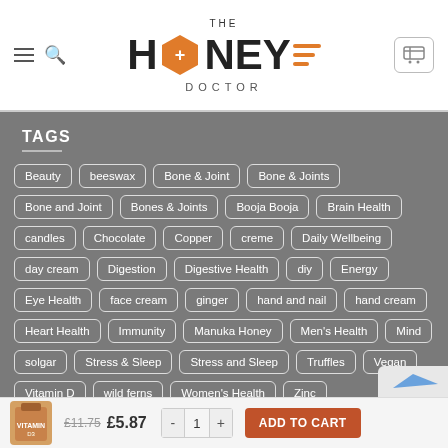[Figure (logo): The Honey Doctor logo with hexagon icon]
TAGS
Beauty
beeswax
Bone & Joint
Bone & Joints
Bone and Joint
Bones & Joints
Booja Booja
Brain Health
candles
Chocolate
Copper
creme
Daily Wellbeing
day cream
Digestion
Digestive Health
diy
Energy
Eye Health
face cream
ginger
hand and nail
hand cream
Heart Health
Immunity
Manuka Honey
Men's Health
Mind
solgar
Stress & Sleep
Stress and Sleep
Truffles
Vegan
Vitamin D
wild ferns
Women's Health
Zinc
£11.75  £5.87  -  1  +  ADD TO CART